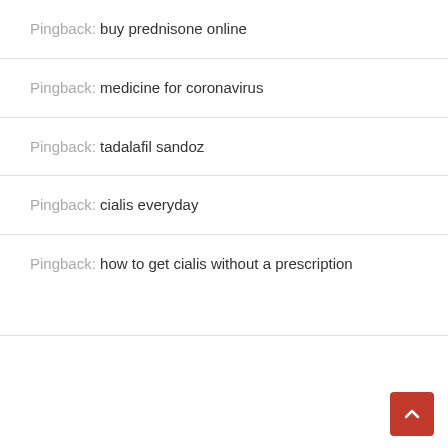Pingback: buy prednisone online
Pingback: medicine for coronavirus
Pingback: tadalafil sandoz
Pingback: cialis everyday
Pingback: how to get cialis without a prescription